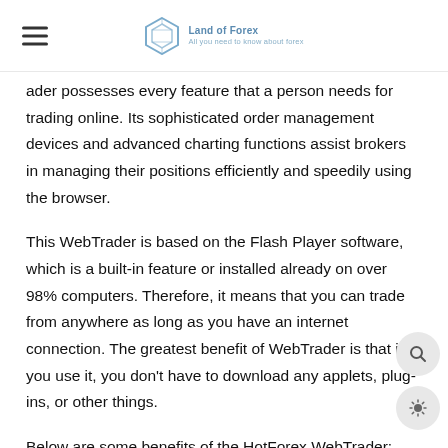Land of Forex — All you need to know about forex
ader possesses every feature that a person needs for trading online. Its sophisticated order management devices and advanced charting functions assist brokers in managing their positions efficiently and speedily using the browser.
This WebTrader is based on the Flash Player software, which is a built-in feature or installed already on over 98% computers. Therefore, it means that you can trade from anywhere as long as you have an internet connection. The greatest benefit of WebTrader is that if you use it, you don't have to download any applets, plug-ins, or other things.
Below are some benefits of the HotForex WebTrader: